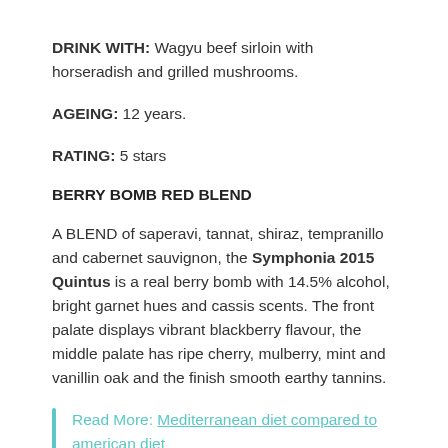DRINK WITH: Wagyu beef sirloin with horseradish and grilled mushrooms.
AGEING: 12 years.
RATING: 5 stars
BERRY BOMB RED BLEND
A BLEND of saperavi, tannat, shiraz, tempranillo and cabernet sauvignon, the Symphonia 2015 Quintus is a real berry bomb with 14.5% alcohol, bright garnet hues and cassis scents. The front palate displays vibrant blackberry flavour, the middle palate has ripe cherry, mulberry, mint and vanillin oak and the finish smooth earthy tannins.
Read More: Mediterranean diet compared to american diet